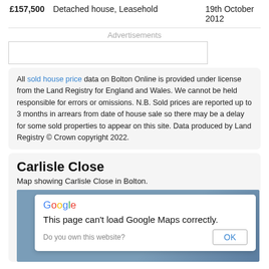£157,500   Detached house, Leasehold   19th October 2012
Advertisements
[Figure (other): Advertisement placeholder box]
All sold house price data on Bolton Online is provided under license from the Land Registry for England and Wales. We cannot be held responsible for errors or omissions. N.B. Sold prices are reported up to 3 months in arrears from date of house sale so there may be a delay for some sold properties to appear on this site. Data produced by Land Registry © Crown copyright 2022.
Carlisle Close
Map showing Carlisle Close in Bolton.
[Figure (screenshot): Google Maps embed showing error dialog: 'This page can't load Google Maps correctly.' with OK button and 'Do you own this website?' link]